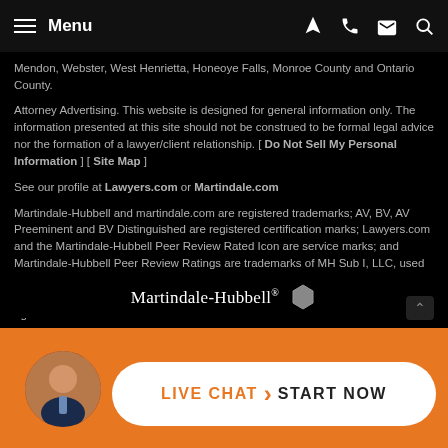Menu
Mendon, Webster, West Henrietta, Honeoye Falls, Monroe County and Ontario County.
Attorney Advertising. This website is designed for general information only. The information presented at this site should not be construed to be formal legal advice nor the formation of a lawyer/client relationship. [ Do Not Sell My Personal Information ] [ Site Map ]
See our profile at Lawyers.com or Martindale.com
Martindale-Hubbell and martindale.com are registered trademarks; AV, BV, AV Preeminent and BV Distinguished are registered certification marks; Lawyers.com and the Martindale-Hubbell Peer Review Rated Icon are service marks; and Martindale-Hubbell Peer Review Ratings are trademarks of MH Sub I, LLC, used under license. Other products and services may be trademarks or registered trademarks of their respective companies. Copyright © 2022 MH Sub I, LLC. All rights reserved.
[Figure (logo): Martindale-Hubbell logo with hexagon badge]
[Figure (infographic): Live Chat - Start Now button with attorney avatar on orange background]